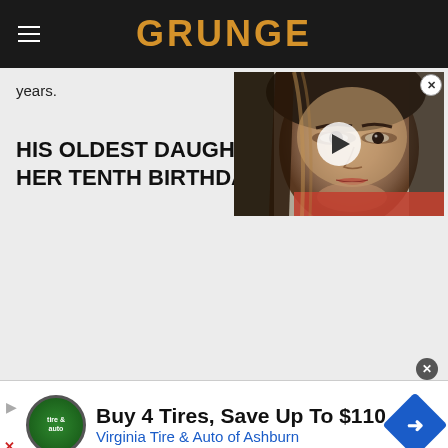GRUNGE
years.
HIS OLDEST DAUGHTER HER TENTH BIRTHDAY
[Figure (screenshot): Video thumbnail showing a woman with dark hair, play button overlay. Close button in top right corner.]
[Figure (infographic): Advertisement banner: Buy 4 Tires, Save Up To $110 - Virginia Tire & Auto of Ashburn, with tire logo and blue directional arrow sign.]